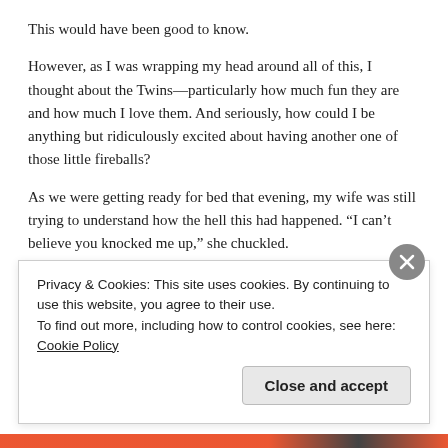This would have been good to know.
However, as I was wrapping my head around all of this, I thought about the Twins—particularly how much fun they are and how much I love them. And seriously, how could I be anything but ridiculously excited about having another one of those little fireballs?
As we were getting ready for bed that evening, my wife was still trying to understand how the hell this had happened. “I can’t believe you knocked me up,” she chuckled.
“I guess my boys can swim after all, eh?”
“Guess so.” She thought for a moment. “So this means there’s going to
Privacy & Cookies: This site uses cookies. By continuing to use this website, you agree to their use.
To find out more, including how to control cookies, see here: Cookie Policy
Close and accept